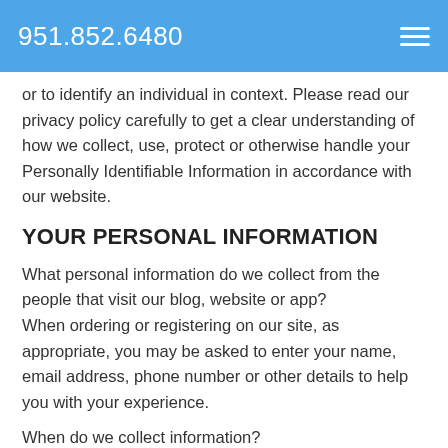951.852.6480
or to identify an individual in context. Please read our privacy policy carefully to get a clear understanding of how we collect, use, protect or otherwise handle your Personally Identifiable Information in accordance with our website.
YOUR PERSONAL INFORMATION
What personal information do we collect from the people that visit our blog, website or app?
When ordering or registering on our site, as appropriate, you may be asked to enter your name, email address, phone number or other details to help you with your experience.
When do we collect information?
We collect information from you when you fill out a form or enter information on our site.
How do we use your information?